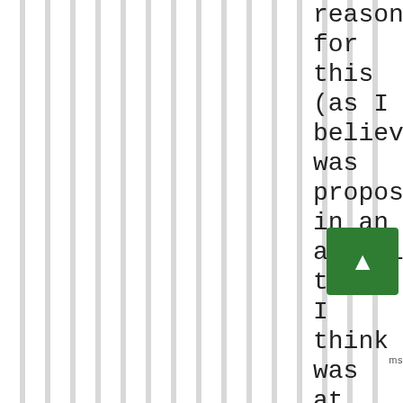reason for this (as I believe was proposed in an article that I think was at P...al Outside but may have